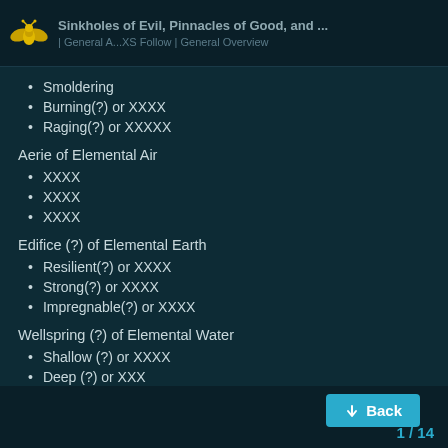Sinkholes of Evil, Pinnacles of Good, and ... | General A...XS Follow | General Overview
Smoldering
Burning(?) or XXXX
Raging(?) or XXXXX
Aerie of Elemental Air
XXXX
XXXX
XXXX
Edifice (?) of Elemental Earth
Resilient(?) or XXXX
Strong(?) or XXXX
Impregnable(?) or XXXX
Wellspring (?) of Elemental Water
Shallow (?) or XXXX
Deep (?) or XXX
Abyssal (?) or XXX
1 / 14